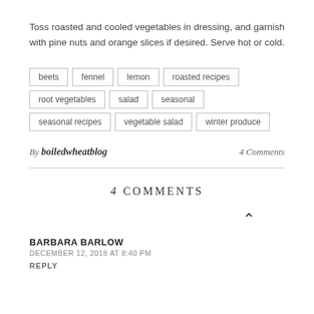Toss roasted and cooled vegetables in dressing, and garnish with pine nuts and orange slices if desired. Serve hot or cold.
beets
fennel
lemon
roasted recipes
root vegetables
salad
seasonal
seasonal recipes
vegetable salad
winter produce
By boiledwheatblog   4 Comments
4 COMMENTS
BARBARA BARLOW
DECEMBER 12, 2018 AT 8:40 PM
REPLY